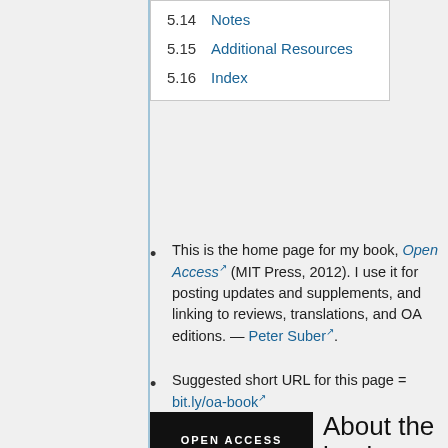5.14 Notes
5.15 Additional Resources
5.16 Index
This is the home page for my book, Open Access (MIT Press, 2012). I use it for posting updates and supplements, and linking to reviews, translations, and OA editions. — Peter Suber.
Suggested short URL for this page = bit.ly/oa-book
[Figure (photo): Book cover of Open Access by Peter Suber, MIT Press. Black background with white title text OPEN ACCESS and orange author name PETER SUBER, with a large orange open padlock symbol at the bottom.]
About the book
The book